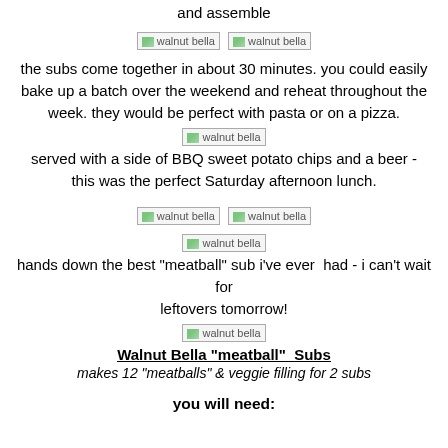and assemble
[Figure (photo): Two walnut bella images side by side]
the subs come together in about 30 minutes. you could easily bake up a batch over the weekend and reheat throughout the week. they would be perfect with pasta or on a pizza.
[Figure (photo): walnut bella image]
served with a side of BBQ sweet potato chips and a beer - this was the perfect Saturday afternoon lunch.
[Figure (photo): Two walnut bella images side by side]
[Figure (photo): walnut bella image]
hands down the best "meatball" sub i've ever  had - i can't wait for leftovers tomorrow!
[Figure (photo): walnut bella image]
Walnut Bella "meatball"  Subs
makes 12 "meatballs" & veggie filling for 2 subs
you will need: